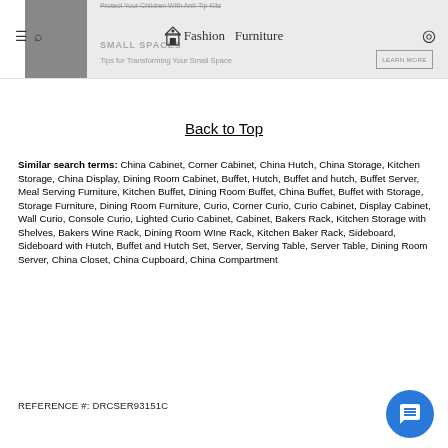Fashion Furniture — navigation header with logo, hamburger menu, search, and location icons
[Figure (screenshot): Banner advertisement showing 'SMALL SPACES' with 'Tips for Transforming Your Small Space' and a LEARN MORE button, partially visible at top]
Back to Top
Similar search terms: China Cabinet, Corner Cabinet, China Hutch, China Storage, Kitchen Storage, China Display, Dining Room Cabinet, Buffet, Hutch, Buffet and hutch, Buffet Server, Meal Serving Furniture, Kitchen Buffet, Dining Room Buffet, China Buffet, Buffet with Storage, Storage Furniture, Dining Room Furniture, Curio, Corner Curio, Curio Cabinet, Display Cabinet, Wall Curio, Console Curio, Lighted Curio Cabinet, Cabinet, Bakers Rack, Kitchen Storage with Shelves, Bakers Wine Rack, Dining Room WIne Rack, Kitchen Baker Rack, Sideboard, Sideboard with Hutch, Buffet and Hutch Set, Server, Serving Table, Server Table, Dining Room Server, China Closet, China Cupboard, China Compartment
REFERENCE #: DRCSER93151C